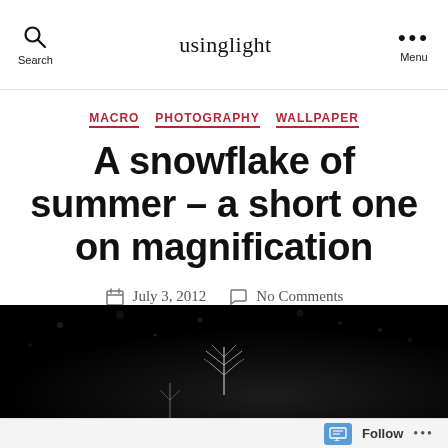usinglight
MACRO PHOTOGRAPHY WALLPAPER
A snowflake of summer – a short one on magnification
July 3, 2012   No Comments
[Figure (photo): Dark macro photograph with a plant or snowflake-like structure visible against a very dark/black background, with faint bokeh light spots]
Follow